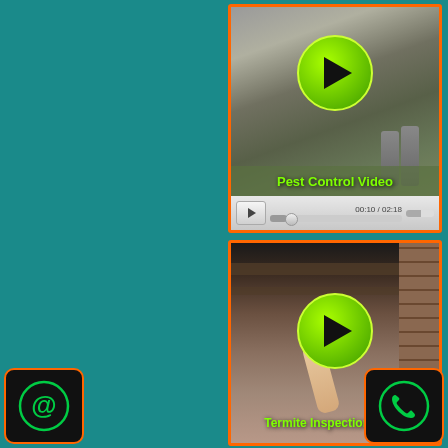[Figure (screenshot): Video thumbnail of pest control worker in outdoor setting with green play button overlay and label 'Pest Control Video', with video control bar showing 00:10 / 02:18]
[Figure (screenshot): Video thumbnail of person performing termite inspection in crawlspace/under-floor area holding flashlight/tool, with green play button overlay and label 'Termite Inspection Video']
[Figure (illustration): Black button with orange border and green @ symbol icon for email contact]
[Figure (illustration): Black button with orange border and green phone/handset icon for phone contact]